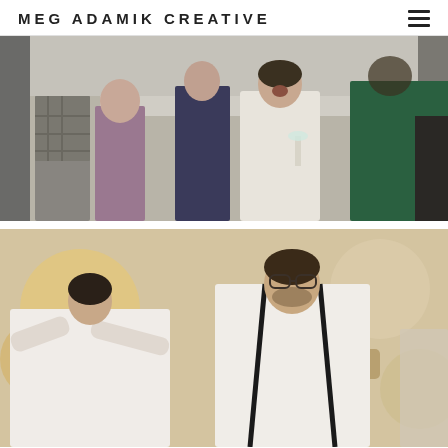MEG ADAMIK CREATIVE
[Figure (photo): Wedding reception photo: a bride in a white dress laughing and holding a champagne glass, surrounded by guests in an indoor venue setting]
[Figure (photo): Wedding reception photo: a man with glasses and suspenders dancing or celebrating, arm outstretched, with a woman beside him in a warmly lit indoor venue]